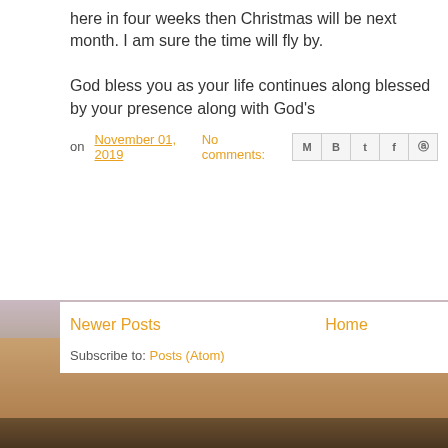here in four weeks then Christmas will be next month. I am sure the time will fly by.

God bless you as your life continues along blessed by your presence along with God's
on November 01, 2019  No comments:
Newer Posts   Home
Subscribe to: Posts (Atom)
[Figure (photo): Desert/beach landscape with sandy terrain, hazy sky, and a wooden fence or structure visible in the lower right. Text 'Travel theme' visible in lower right corner.]